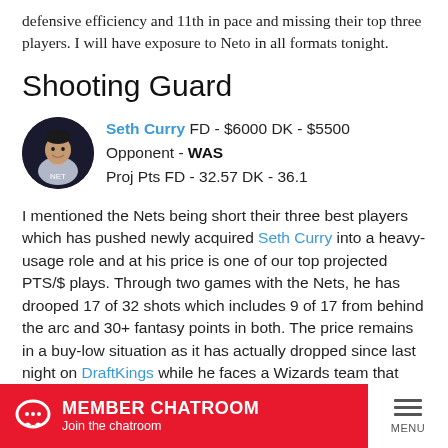defensive efficiency and 11th in pace and missing their top three players. I will have exposure to Neto in all formats tonight.
Shooting Guard
Seth Curry FD - $6000 DK - $5500 Opponent - WAS Proj Pts FD - 32.57 DK - 36.1
I mentioned the Nets being short their three best players which has pushed newly acquired Seth Curry into a heavy-usage role and at his price is one of our top projected PTS/$ plays. Through two games with the Nets, he has drooped 17 of 32 shots which includes 9 of 17 from behind the arc and 30+ fantasy points in both. The price remains in a buy-low situation as it has actually dropped since last night on DraftKings while he faces a Wizards team that ranks 22nd in defense. Look for Curry to be in every optimized lineup by
MEMBER CHATROOM Join the chatroom MENU